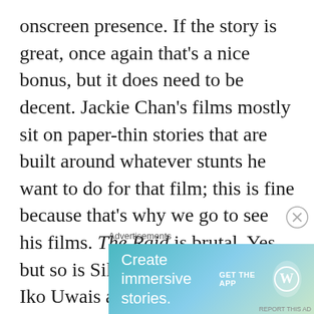onscreen presence. If the story is great, once again that's a nice bonus, but it does need to be decent. Jackie Chan's films mostly sit on paper-thin stories that are built around whatever stunts he want to do for that film; this is fine because that's why we go to see his films. The Raid is brutal. Yes, but so is Silat, the fighting style Iko Uwais and Yayan Ruhian use. It's not nice, nor should it be portrayed as such onscreen. Anything less would dishonor the style they've spent a good portion of their lives
[Figure (other): Advertisement banner for WordPress app with text 'Create immersive stories.' and 'GET THE APP' button with WordPress logo]